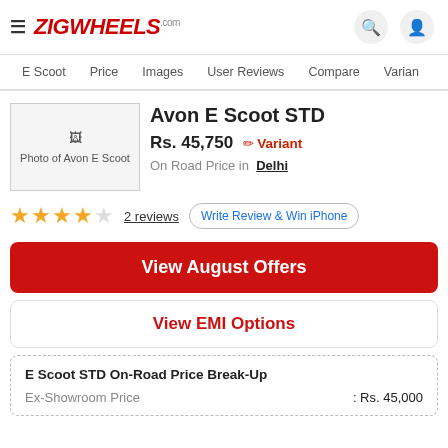ZIGWHEELS
E Scoot | Price | Images | User Reviews | Compare | Varian
[Figure (photo): Photo of Avon E Scoot]
Avon E Scoot STD
Rs. 45,750 ✏ Variant
On Road Price in Delhi
★★★★☆ 2 reviews | Write Review & Win iPhone
View August Offers
View EMI Options
E Scoot STD On-Road Price Break-Up
Ex-Showroom Price : Rs. 45,000